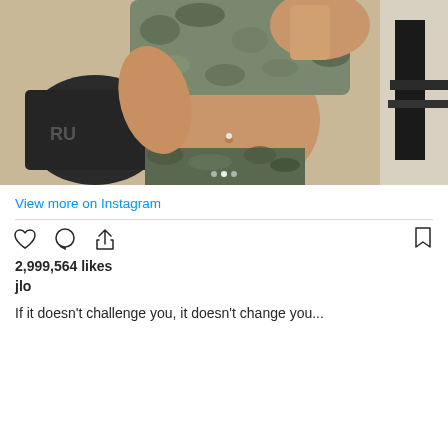[Figure (photo): Instagram post photo showing a person in a camo sports bra and camo pants taking a gym mirror selfie, showing toned midsection]
View more on Instagram
2,999,564 likes
jlo
If it doesn't challenge you, it doesn't change you...